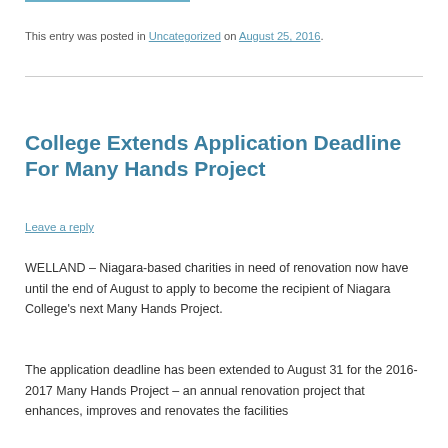This entry was posted in Uncategorized on August 25, 2016.
College Extends Application Deadline For Many Hands Project
Leave a reply
WELLAND – Niagara-based charities in need of renovation now have until the end of August to apply to become the recipient of Niagara College's next Many Hands Project.
The application deadline has been extended to August 31 for the 2016-2017 Many Hands Project – an annual renovation project that enhances, improves and renovates the facilities